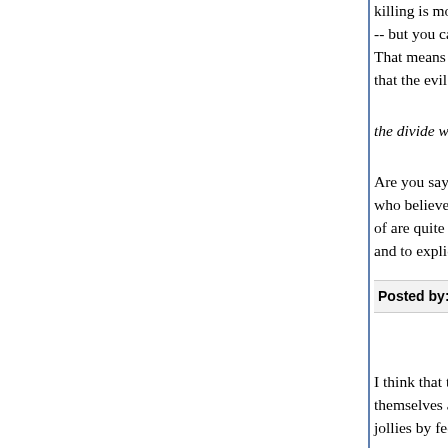killing is morally wrong, as a rule. You can kill peo -- but you can't use birth control, even though the That means that *either* they don't really think ab that the evil of contraception is almost as great.
the divide within pro-life organizations between co
Are you saying that there are prominent PRM org who believe in *promoting* condom use, not just t of are quite consistently opposed to easy access and to explicit, thorough sex education.
Posted by: Doctor Science | February 06, 2011 at 08:48 PM
I think that there are a couple more catagories of themselves as pro-life. Some are the frankly sin-c jollies by feeling more moral than everyone else. or women or children: too busy getting their rocks
There's a fairly large group of people who call the sounds good but, if the issue is discussed, actual circumstances and do not want abortion to be out
Of your list of atrocities: there's a Republbican in S